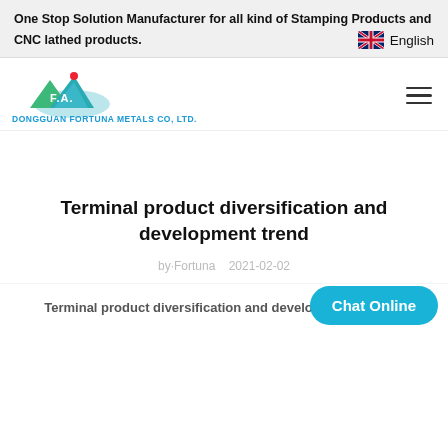One Stop Solution Manufacturer for all kind of Stamping Products and CNC lathed products.
[Figure (logo): Dongguan Fortuna Metals Co., Ltd. logo with stylized mountain/landscape in green and blue with red dot, and company name in blue below]
Terminal product diversification and development trend
by Fortuna  2021-02-02
Terminal product diversification and development trend of